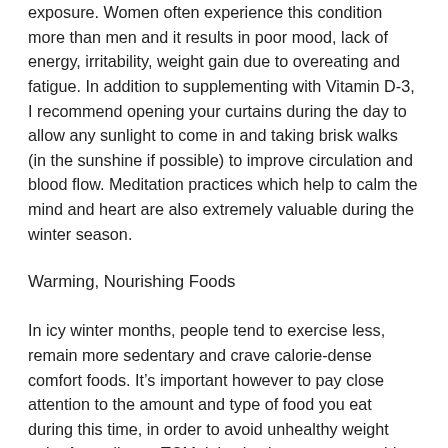exposure. Women often experience this condition more than men and it results in poor mood, lack of energy, irritability, weight gain due to overeating and fatigue. In addition to supplementing with Vitamin D-3, I recommend opening your curtains during the day to allow any sunlight to come in and taking brisk walks (in the sunshine if possible) to improve circulation and blood flow. Meditation practices which help to calm the mind and heart are also extremely valuable during the winter season.
Warming, Nourishing Foods
In icy winter months, people tend to exercise less, remain more sedentary and crave calorie-dense comfort foods. It's important however to pay close attention to the amount and type of food you eat during this time, in order to avoid unhealthy weight gain. According to TCM, it is also important to avoid too many raw foods during winter because they tend to cool the body and can deplete our digestive “fire” which is the ability to assimilate food efficiently. I recommend eating warming foods, while cooking them longer and at lower temperatures with less